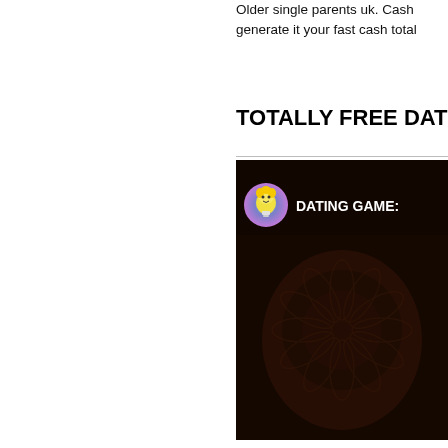Older single parents uk. Cash generate it your fast cash total
TOTALLY FREE DAT
[Figure (screenshot): Dark video thumbnail with a circular avatar icon showing a cartoon lightbulb character with blonde hair on a blue-purple gradient background, beside the text 'DATING GAME:' in white bold letters. The thumbnail background shows a dark scene with ornate floral cushion patterns.]